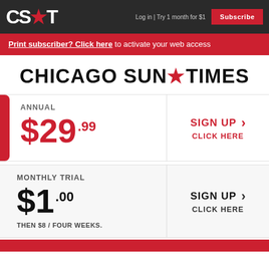CS★T  Log in | Try 1 month for $1  Subscribe
Print subscriber? Click here to activate your web access
CHICAGO SUN★TIMES
ANNUAL $29.99  SIGN UP CLICK HERE
MONTHLY TRIAL $1.00 THEN $8 / FOUR WEEKS.  SIGN UP CLICK HERE